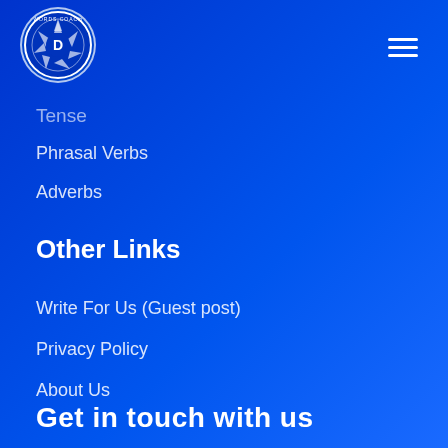[Figure (logo): Words Coach circular logo with camera aperture icon and letter D in center, white border on blue background]
Tense
Phrasal Verbs
Adverbs
Other Links
Write For Us (Guest post)
Privacy Policy
About Us
Get in touch with us